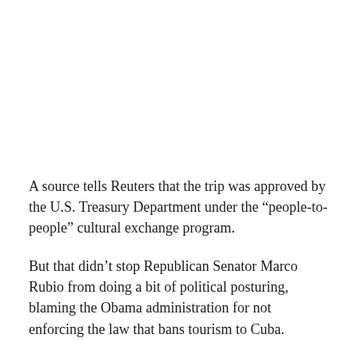A source tells Reuters that the trip was approved by the U.S. Treasury Department under the “people-to-people” cultural exchange program.
But that didn’t stop Republican Senator Marco Rubio from doing a bit of political posturing, blaming the Obama administration for not enforcing the law that bans tourism to Cuba.